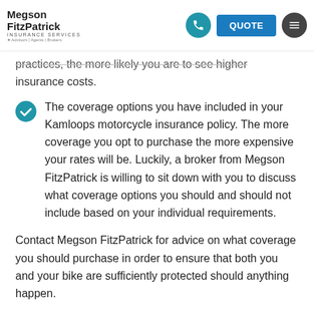Megson FitzPatrick Insurance Services
practices, the more likely you are to see higher insurance costs.
The coverage options you have included in your Kamloops motorcycle insurance policy. The more coverage you opt to purchase the more expensive your rates will be. Luckily, a broker from Megson FitzPatrick is willing to sit down with you to discuss what coverage options you should and should not include based on your individual requirements.
Contact Megson FitzPatrick for advice on what coverage you should purchase in order to ensure that both you and your bike are sufficiently protected should anything happen.